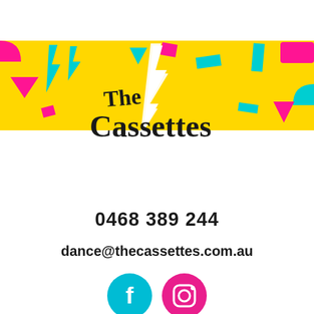[Figure (logo): The Cassettes logo on yellow banner background with colorful geometric shapes (pink triangles, cyan lightning bolts, cyan rectangles, pink squares) and a white lightning bolt in the center]
0468 389 244
dance@thecassettes.com.au
[Figure (illustration): Facebook and Instagram social media icons — Facebook in teal/cyan circle, Instagram in magenta/pink circle]